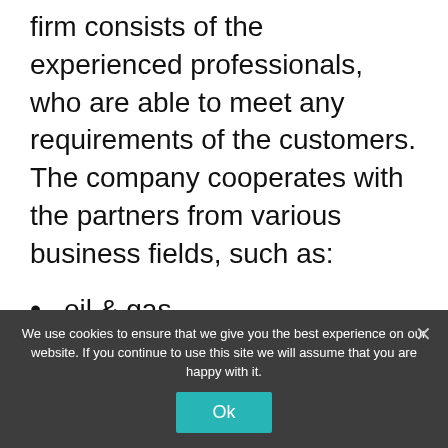firm consists of the experienced professionals, who are able to meet any requirements of the customers. The company cooperates with the partners from various business fields, such as:
oil & gas
port services
sea transportation
air freight
general cargo, etc.
We use cookies to ensure that we give you the best experience on our website. If you continue to use this site we will assume that you are happy with it.